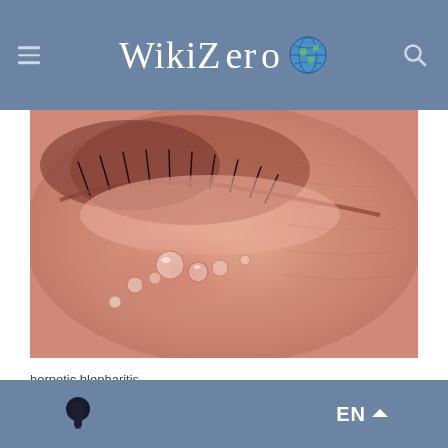WikiZero
[Figure (photo): Close-up medical photograph of herpetic blepharitis showing an inflamed eyelid with characteristic herpetic vesicles/lesions around the eye area, with eyelashes visible]
herpetic blepharitis
Primary infection most commonly manifests as blepharoconjunctivitis i.e. infection of lids and conjunctiva that
EN